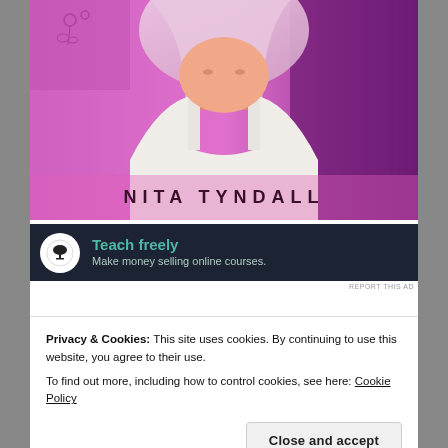[Figure (illustration): Book cover illustration showing a young woman with light pink/lavender hair, wearing a white tank top, against a purple and magenta background with floral elements. Author name 'NITA TYNDALL' appears at the bottom of the cover.]
[Figure (infographic): Advertisement banner with dark navy background. Features a white circle icon with a bonsai tree symbol on the left. Text reads 'Teach freely' in teal/green color and 'Make money selling online courses.' in lighter teal color.]
REPORT THIS AD
Privacy & Cookies: This site uses cookies. By continuing to use this website, you agree to their use.
To find out more, including how to control cookies, see here: Cookie Policy
Close and accept